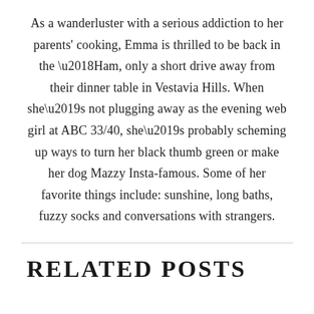As a wanderluster with a serious addiction to her parents' cooking, Emma is thrilled to be back in the ‘Ham, only a short drive away from their dinner table in Vestavia Hills. When she’s not plugging away as the evening web girl at ABC 33/40, she’s probably scheming up ways to turn her black thumb green or make her dog Mazzy Insta-famous. Some of her favorite things include: sunshine, long baths, fuzzy socks and conversations with strangers.
RELATED POSTS